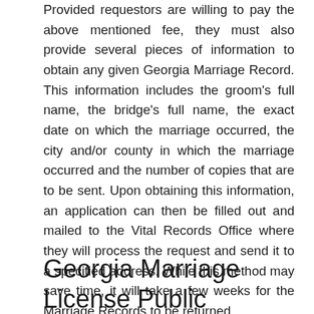Provided requestors are willing to pay the above mentioned fee, they must also provide several pieces of information to obtain any given Georgia Marriage Record. This information includes the groom's full name, the bridge's full name, the exact date on which the marriage occurred, the city and/or county in which the marriage occurred and the number of copies that are to be sent. Upon obtaining this information, an application can then be filled out and mailed to the Vital Records Office where they will process the request and send it to a specified address. While this method may save time, it will take a few weeks for the Marriage Records to be returned.
Georgia Marriage License Public